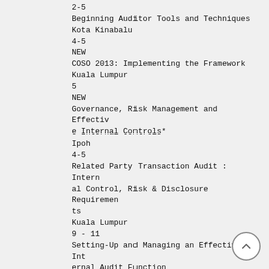2-5
Beginning Auditor Tools and Techniques
Kota Kinabalu
4-5
NEW
COSO 2013: Implementing the Framework
Kuala Lumpur
5
NEW
Governance, Risk Management and Effective Internal Controls*
Ipoh
4-5
Related Party Transaction Audit : Internal Control, Risk & Disclosure Requirements
Kuala Lumpur
9 - 11
Setting-Up and Managing an Effective Internal Audit Function
Kuala Lumpur
16 - 17
Financial Auditing for Internal Auditors
Kuala Lumpur